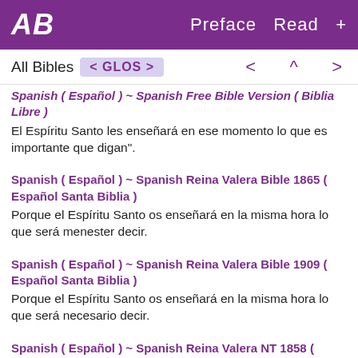AB  Preface  Read  +
All Bibles  < GLOS >  < ^ >
Spanish ( Español ) ~ Spanish Free Bible Version ( Biblia Libre )
El Espíritu Santo les enseñará en ese momento lo que es importante que digan".
Spanish ( Español ) ~ Spanish Reina Valera Bible 1865 ( Español Santa Biblia )
Porque el Espíritu Santo os enseñará en la misma hora lo que será menester decir.
Spanish ( Español ) ~ Spanish Reina Valera Bible 1909 ( Español Santa Biblia )
Porque el Espíritu Santo os enseñará en la misma hora lo que será necesario decir.
Spanish ( Español ) ~ Spanish Reina Valera NT 1858 ( Español Santa Biblia )